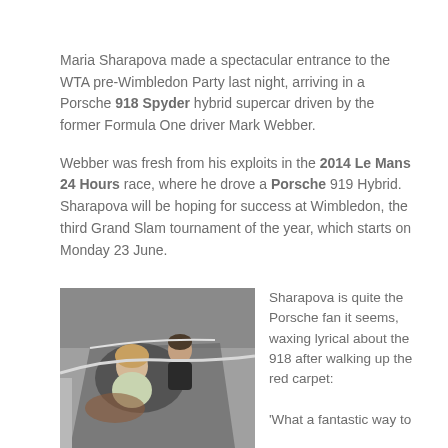Maria Sharapova made a spectacular entrance to the WTA pre-Wimbledon Party last night, arriving in a Porsche 918 Spyder hybrid supercar driven by the former Formula One driver Mark Webber.
Webber was fresh from his exploits in the 2014 Le Mans 24 Hours race, where he drove a Porsche 919 Hybrid. Sharapova will be hoping for success at Wimbledon, the third Grand Slam tournament of the year, which starts on Monday 23 June.
[Figure (photo): Photo of Maria Sharapova sitting in a Porsche 918 Spyder with Mark Webber standing behind, silver car visible]
Sharapova is quite the Porsche fan it seems, waxing lyrical about the 918 after walking up the red carpet:
'What a fantastic way to